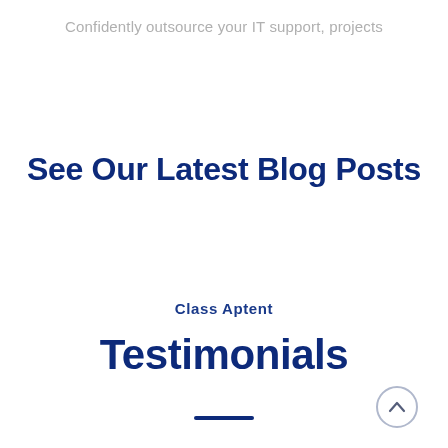Confidently outsource your IT support, projects
See Our Latest Blog Posts
Class Aptent
Testimonials